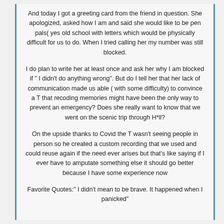And today I got a greeting card from the friend in question. She apologized, asked how I am and said she would like to be pen pals( yes old school with letters which would be physically difficult for us to do. When I tried calling her my number was still blocked.
I do plan to write her at least once and ask her why I am blocked if " I didn't do anything wrong". But do I tell her that her lack of communication made us able ( with some difficulty) to convince a T that recoding memories might have been the only way to prevent an emergency? Does she really want to know that we went on the scenic trip through H*ll?
On the upside thanks to Covid the T wasn't seeing people in person so he created a custom recording that we used and could reuse again if the need ever arises but that's like saying if I ever have to amputate something else it should go better because I have some experience now
Favorite Quotes:" I didn't mean to be brave. It happened when I panicked"